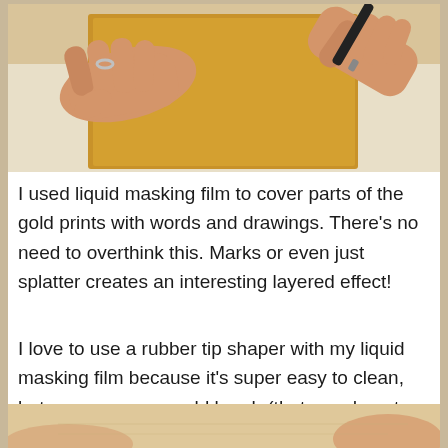[Figure (photo): Hands holding a gold/yellow paper or cardstock while writing or drawing on it with a dark marker or pen.]
I used liquid masking film to cover parts of the gold prints with words and drawings. There’s no need to overthink this. Marks or even just splatter creates an interesting layered effect!
I love to use a rubber tip shaper with my liquid masking film because it’s super easy to clean, but you can use an old brush (that you do not mind ruining) instead.
[Figure (photo): Partial view of hands working on paper or canvas, bottom of page.]